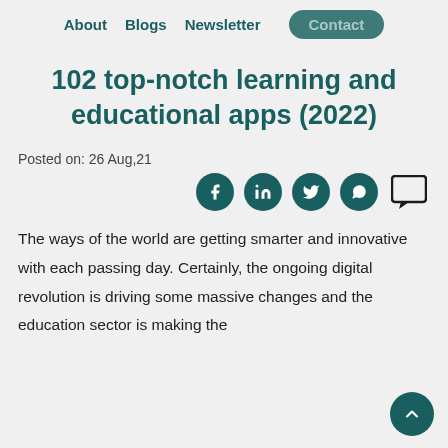About   Blogs   Newsletter   Contact
102 top-notch learning and educational apps (2022)
Posted on: 26 Aug,21
[Figure (other): Social media share icons: Facebook, LinkedIn, Twitter, WhatsApp, and a comment icon]
The ways of the world are getting smarter and innovative with each passing day. Certainly, the ongoing digital revolution is driving some massive changes and the education sector is making the